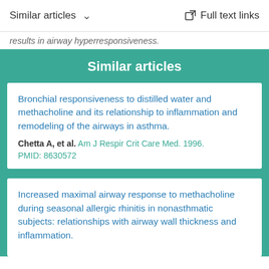Similar articles   Full text links
results in airway hyperresponsiveness.
Similar articles
Bronchial responsiveness to distilled water and methacholine and its relationship to inflammation and remodeling of the airways in asthma.
Chetta A, et al. Am J Respir Crit Care Med. 1996.
PMID: 8630572
Increased maximal airway response to methacholine during seasonal allergic rhinitis in nonasthmatic subjects: relationships with airway wall thickness and inflammation.